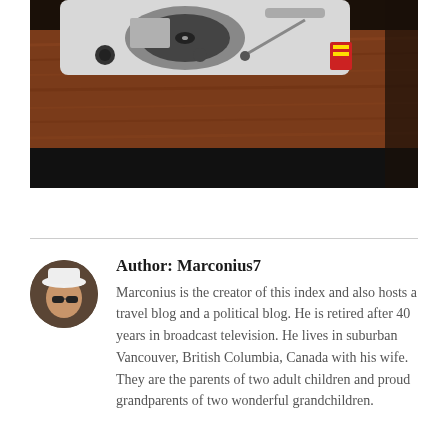[Figure (photo): Photograph of a vintage turntable / record player with a wooden body (reddish-brown wood grain), a metal tonearm assembly at top, knobs, and a small red sticker visible on the right side. The bottom portion of the image is dark/black.]
Author: Marconius7
Marconius is the creator of this index and also hosts a travel blog and a political blog. He is retired after 40 years in broadcast television. He lives in suburban Vancouver, British Columbia, Canada with his wife. They are the parents of two adult children and proud grandparents of two wonderful grandchildren.